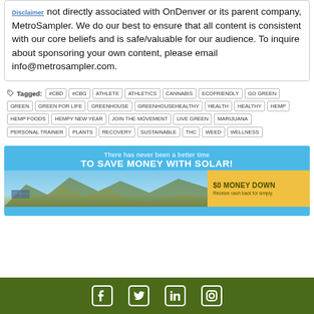Disclaimer not directly associated with OnDenver or its parent company, MetroSampler. We do our best to ensure that all content is consistent with our core beliefs and is safe/valuable for our audience. To inquire about sponsoring your own content, please email info@metrosampler.com.
Tagged: #CBD #CBG ATHLETE ATHLETICS CANNABIS ECOFRIENDLY GO GREEN GREEN GREEN FOR LIFE GREENHOUSE GREENHOUSEHEALTHY HEALTH HEALTHY HEMP HEMP FOODS HEMPY NEW YEAR JOIN THE MOVEMENT LIVE GREEN MARIJUANA PERSONAL TRAINER PLANTS RECOVERY SUSTAINABLE THC WEED WELLNESS
[Figure (infographic): Solar energy advertisement banner: 'There has never been a better time TO SAVE MONEY WITH SOLAR!' with mountain landscape image and '$0 MONEY DOWN - Receive cash back for simply.' on yellow background]
Social media icons: Facebook, Twitter, LinkedIn, Instagram